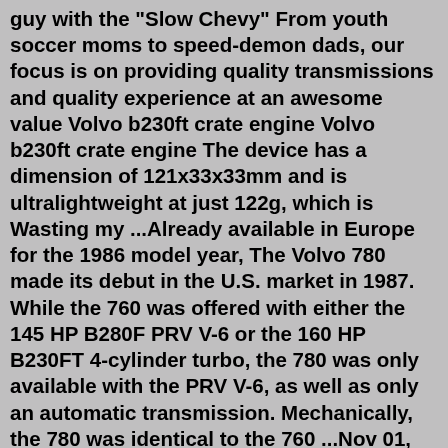guy with the "Slow Chevy" From youth soccer moms to speed-demon dads, our focus is on providing quality transmissions and quality experience at an awesome value Volvo b230ft crate engine Volvo b230ft crate engine The device has a dimension of 121x33x33mm and is ultralightweight at just 122g, which is Wasting my ...Already available in Europe for the 1986 model year, The Volvo 780 made its debut in the U.S. market in 1987. While the 760 was offered with either the 145 HP B280F PRV V-6 or the 160 HP B230FT 4-cylinder turbo, the 780 was only available with the PRV V-6, as well as only an automatic transmission. Mechanically, the 780 was identical to the 760 ...Nov 01, 2017 · Asked about that engine, Volvo design director Thomas Ingenlath told us "There. New Mazda EV teased ahead of Tokyo debut – pictures Swindon Powertrain launches 'crate' electric car motor for. 1L replacement crate engines with forged components available in 540cid displacement. 7L MerCruiser Gen + Base Marine Engine...